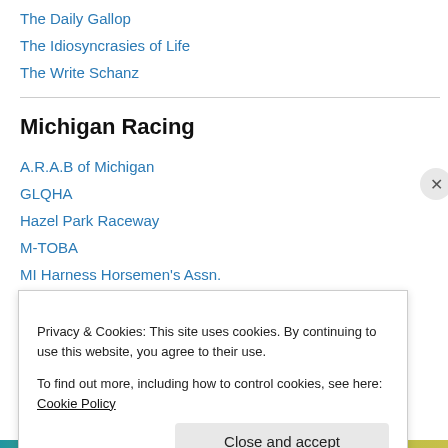The Daily Gallop
The Idiosyncrasies of Life
The Write Schanz
Michigan Racing
A.R.A.B of Michigan
GLQHA
Hazel Park Raceway
M-TOBA
MI Harness Horsemen's Assn.
Michigan Gaming Control Board
Michigan HRDA
Privacy & Cookies: This site uses cookies. By continuing to use this website, you agree to their use. To find out more, including how to control cookies, see here: Cookie Policy
Close and accept